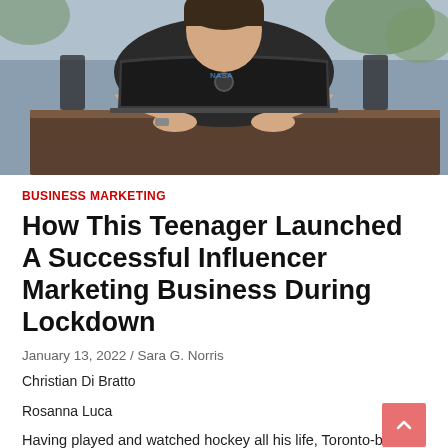[Figure (photo): A young man wearing a NASA t-shirt working on a MacBook laptop outdoors at a wooden table, photographed from above/behind.]
BUSINESS MARKETING
How This Teenager Launched A Successful Influencer Marketing Business During Lockdown
January 13, 2022 / Sara G. Norris
Christian Di Bratto
Rosanna Luca
Having played and watched hockey all his life, Toronto-based teenager Christian Di Bratto knew a lot about brand partnerships and the exclusivity deals that players in the